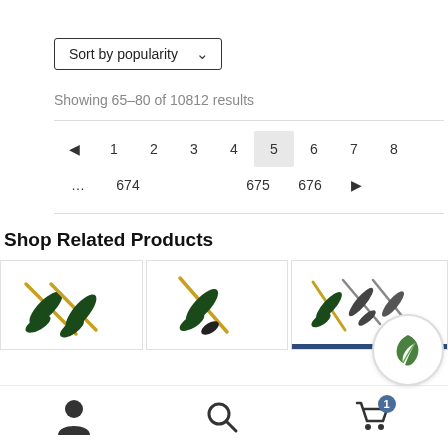Sort by popularity
Showing 65–80 of 10812 results
◄ 1 2 3 4 5 6 7 8 … 674 675 676 ►
Shop Related Products
[Figure (photo): Three product cards showing garden pruning shears/scissors tools]
[Figure (logo): Green leaf logo circle icon]